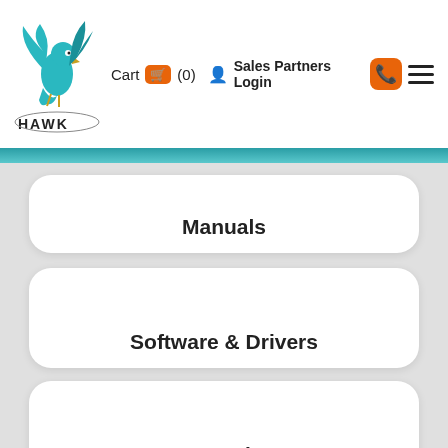Cart (0) Sales Partners Login
Manuals
Software & Drivers
Locate a Sales Rep
CONTACT US